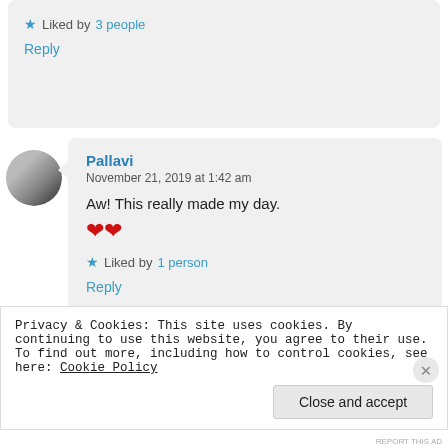★ Liked by 3 people
Reply
Pallavi
November 21, 2019 at 1:42 am
Aw! This really made my day. ❤❤
★ Liked by 1 person
Reply
Privacy & Cookies: This site uses cookies. By continuing to use this website, you agree to their use.
To find out more, including how to control cookies, see here: Cookie Policy
Close and accept